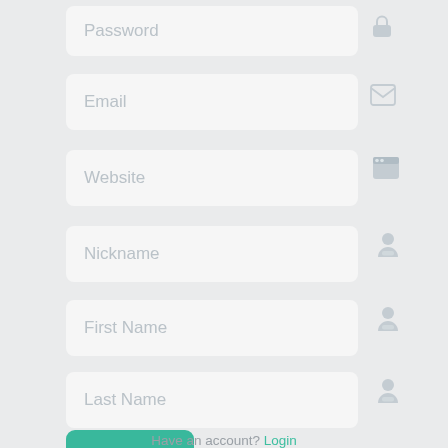[Figure (screenshot): Registration form UI screenshot with input fields: Password (partial, top), Email, Website, Nickname, First Name, Last Name, a teal Register button, and a 'Have an account? Login' link at the bottom. Each field has a corresponding icon to the right.]
Have an account? Login